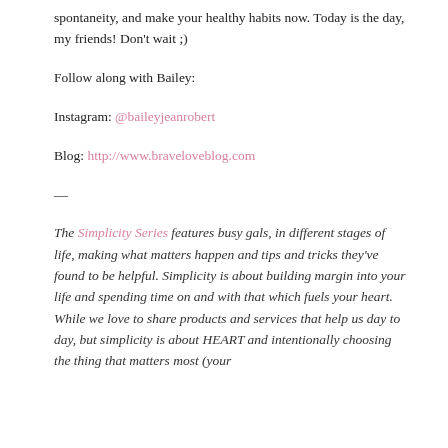spontaneity, and make your healthy habits now. Today is the day, my friends! Don't wait ;)
Follow along with Bailey:
Instagram: @baileyjeanrobert
Blog: http://www.braveloveblog.com
—
The Simplicity Series features busy gals, in different stages of life, making what matters happen and tips and tricks they've found to be helpful. Simplicity is about building margin into your life and spending time on and with that which fuels your heart. While we love to share products and services that help us day to day, but simplicity is about HEART and intentionally choosing the thing that matters most (your